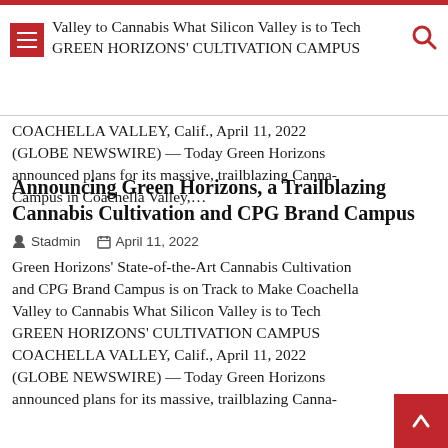Valley to Cannabis What Silicon Valley is to Tech GREEN HORIZONS' CULTIVATION CAMPUS
COACHELLA VALLEY, Calif., April 11, 2022 (GLOBE NEWSWIRE) — Today Green Horizons announced plans for its massive, trailblazing Canna-Campus in Coachella Valley,…
Announcing Green Horizons, a Trailblazing Cannabis Cultivation and CPG Brand Campus
Stadmin   April 11, 2022
Green Horizons' State-of-the-Art Cannabis Cultivation and CPG Brand Campus is on Track to Make Coachella Valley to Cannabis What Silicon Valley is to Tech GREEN HORIZONS' CULTIVATION CAMPUS COACHELLA VALLEY, Calif., April 11, 2022 (GLOBE NEWSWIRE) — Today Green Horizons announced plans for its massive, trailblazing Canna-